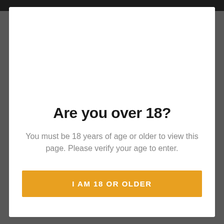Are you over 18?
You must be 18 years of age or older to view this page. Please verify your age to enter.
I AM 18 OR OLDER